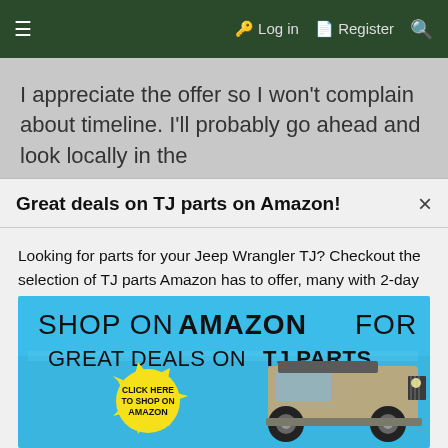≡   🔑 Log in   🗋 Register   🔍
I appreciate the offer so I won't complain about timeline. I'll probably go ahead and look locally in the
Great deals on TJ parts on Amazon!
Looking for parts for your Jeep Wrangler TJ? Checkout the selection of TJ parts Amazon has to offer, many with 2-day Prime shipping!
Click the image below to browse TJ parts on Amazon.
[Figure (illustration): Advertisement banner: 'SHOP ON AMAZON FOR GREAT DEALS ON TJ PARTS' with a yellow starburst containing 'CLICK HERE TO SHOP ON AMAZON' and an illustration of a Jeep Wrangler TJ on a blue painted background.]